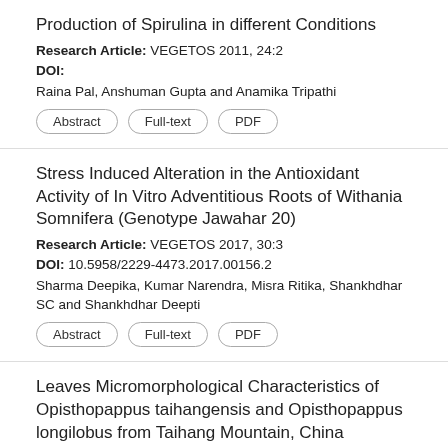Production of Spirulina in different Conditions
Research Article: VEGETOS 2011, 24:2
DOI:
Raina Pal, Anshuman Gupta and Anamika Tripathi
Abstract | Full-text | PDF
Stress Induced Alteration in the Antioxidant Activity of In Vitro Adventitious Roots of Withania Somnifera (Genotype Jawahar 20)
Research Article: VEGETOS 2017, 30:3
DOI: 10.5958/2229-4473.2017.00156.2
Sharma Deepika, Kumar Narendra, Misra Ritika, Shankhdhar SC and Shankhdhar Deepti
Abstract | Full-text | PDF
Leaves Micromorphological Characteristics of Opisthopappus taihangensis and Opisthopappus longilobus from Taihang Mountain, China
Research Article: VEGETOS 2015, 28:2